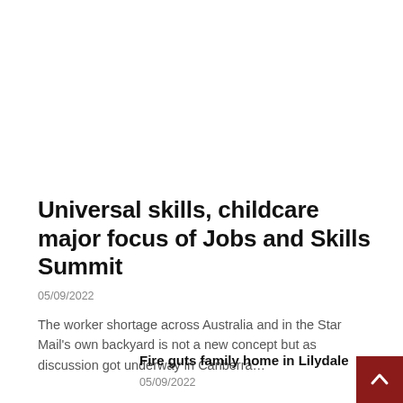Universal skills, childcare major focus of Jobs and Skills Summit
05/09/2022
The worker shortage across Australia and in the Star Mail's own backyard is not a new concept but as discussion got underway in Canberra...
Fire guts family home in Lilydale
05/09/2022